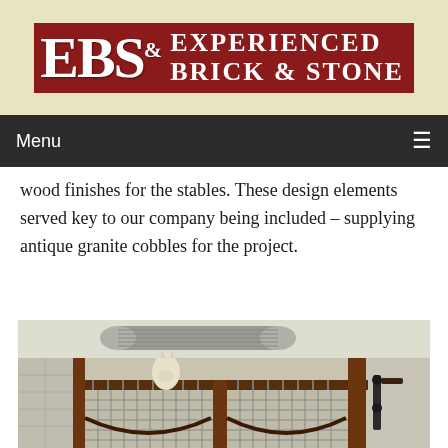[Figure (logo): EBS Experienced Brick & Stone logo — red background with white serif letters EBS and company name]
Menu  ☰
wood finishes for the stables. These design elements served key to our company being included – supplying antique granite cobbles for the project.
[Figure (photo): Interior photo of a horse stable showing wooden stall dividers with metal bars, a horse visible in the background, ductwork on the ceiling, and tack hanging on the right side.]